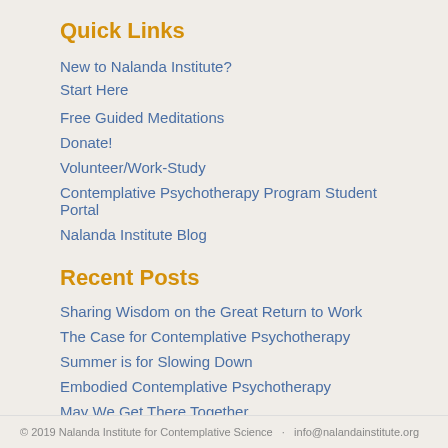Quick Links
New to Nalanda Institute?
Start Here
Free Guided Meditations
Donate!
Volunteer/Work-Study
Contemplative Psychotherapy Program Student Portal
Nalanda Institute Blog
Recent Posts
Sharing Wisdom on the Great Return to Work
The Case for Contemplative Psychotherapy
Summer is for Slowing Down
Embodied Contemplative Psychotherapy
May We Get There Together
© 2019 Nalanda Institute for Contemplative Science   ·   info@nalandainstitute.org